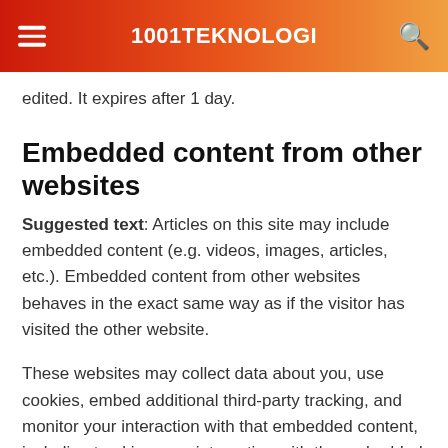1001TEKNOLOGI
edited. It expires after 1 day.
Embedded content from other websites
Suggested text: Articles on this site may include embedded content (e.g. videos, images, articles, etc.). Embedded content from other websites behaves in the exact same way as if the visitor has visited the other website.
These websites may collect data about you, use cookies, embed additional third-party tracking, and monitor your interaction with that embedded content, including tracking your interaction with the embedded content if you have an